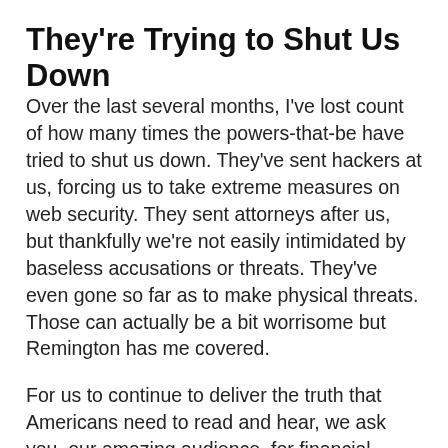They're Trying to Shut Us Down
Over the last several months, I've lost count of how many times the powers-that-be have tried to shut us down. They've sent hackers at us, forcing us to take extreme measures on web security. They sent attorneys after us, but thankfully we're not easily intimidated by baseless accusations or threats. They've even gone so far as to make physical threats. Those can actually be a bit worrisome but Remington has me covered.
For us to continue to deliver the truth that Americans need to read and hear, we ask you, our amazing audience, for financial assistance. We just launched a GiveSendGo page to help us pay the bills. It's brand new so don't be